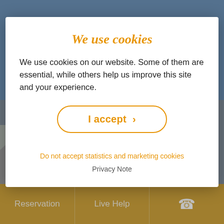[Figure (photo): Background photo of a building/chalet in Obergurgl with blue sky visible]
We use cookies
We use cookies on our website. Some of them are essential, while others help us improve this site and your experience.
I accept >
Do not accept statistics and marketing cookies
Privacy Note
Village square Obergurgl
Reservation   Live Help   [phone icon]